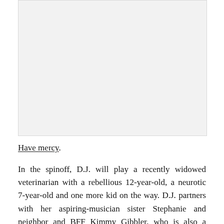[Figure (photo): A large light gray rectangular image placeholder area occupying the top portion of the page.]
Have mercy.
In the spinoff, D.J. will play a recently widowed veterinarian with a rebellious 12-year-old, a neurotic 7-year-old and one more kid on the way. D.J. partners with her aspiring-musician sister Stephanie and neighbor and BFF Kimmy Gibbler, who is also a single mother, to raise the kids in the same house they grew